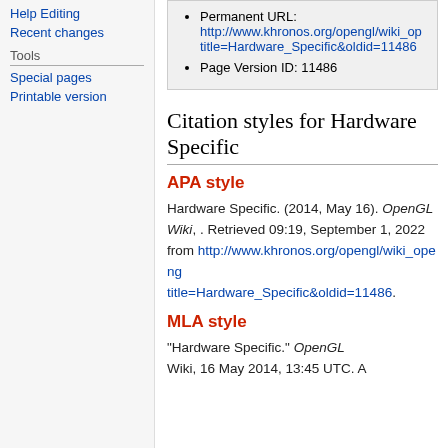Help Editing
Recent changes
Tools
Special pages
Printable version
Permanent URL: http://www.khronos.org/opengl/wiki_o...title=Hardware_Specific&oldid=11486
Page Version ID: 11486
Citation styles for Hardware Specific
APA style
Hardware Specific. (2014, May 16). OpenGL Wiki, . Retrieved 09:19, September 1, 2022 from http://www.khronos.org/opengl/wiki_opengl/...title=Hardware_Specific&oldid=11486.
MLA style
"Hardware Specific." OpenGL Wiki, 16 May 2014, 13:45 UTC. ...